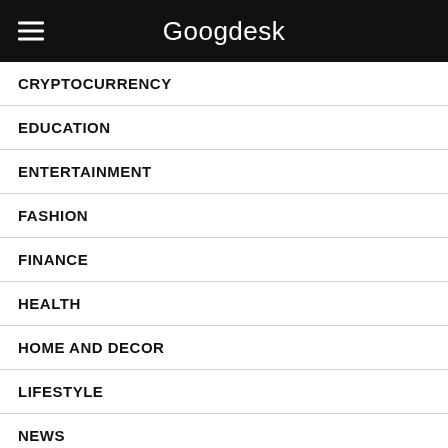Googdesk
CRYPTOCURRENCY
EDUCATION
ENTERTAINMENT
FASHION
FINANCE
HEALTH
HOME AND DECOR
LIFESTYLE
NEWS
OPINION
PETS